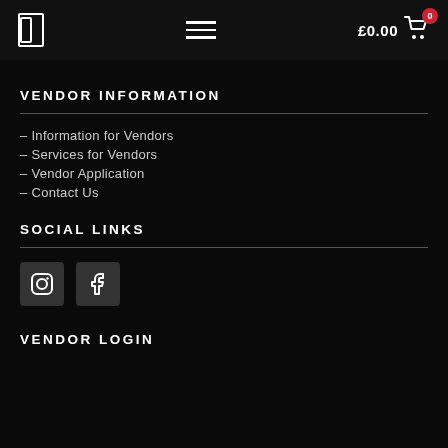£0.00  [cart: 0]
VENDOR INFORMATION
– Information for Vendors
– Services for Vendors
– Vendor Application
– Contact Us
SOCIAL LINKS
[Figure (other): Instagram and Facebook social icon buttons]
VENDOR LOGIN